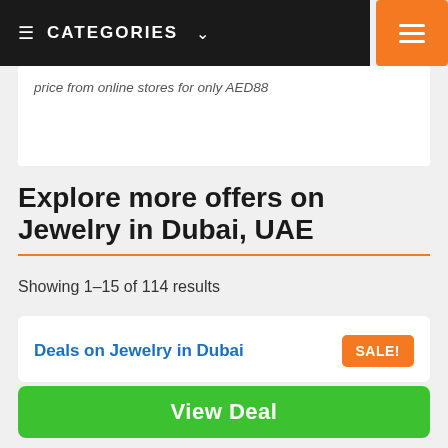CATEGORIES
price from online stores for only AED88
Explore more offers on Jewelry in Dubai, UAE
Showing 1–15 of 114 results
Deals on Jewelry in Dubai
Godmother Gift Only The Best Aunts Get Promoted To Godmother Bracelet Godmother Birthday Christen Gift Baptism Gift
View Deal